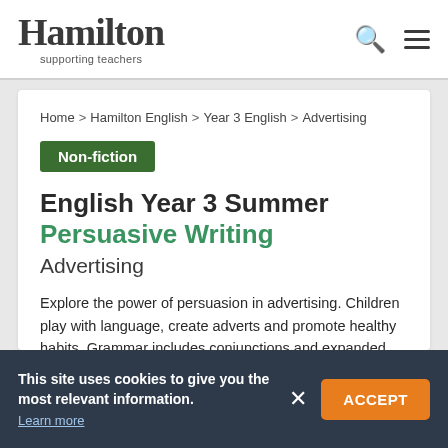Hamilton supporting teachers
Home > Hamilton English > Year 3 English > Advertising
Non-fiction
English Year 3 Summer Persuasive Writing
Advertising
Explore the power of persuasion in advertising. Children play with language, create adverts and promote healthy habits. Grammar includes conjunctions and expanded noun phrases.
This site uses cookies to give you the most relevant information. Learn more